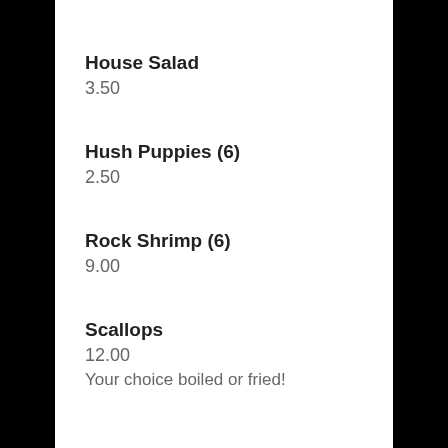House Salad
3.50
Hush Puppies (6)
2.50
Rock Shrimp (6)
9.00
Scallops
12.00
Your choice boiled or fried!